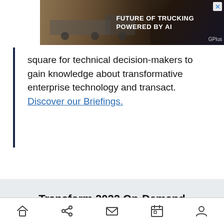[Figure (screenshot): Advertisement banner for AI-powered trucking: 'FUTURE OF TRUCKING POWERED BY AI' with truck image and GPlus branding, with a close X button]
square for technical decision-makers to gain knowledge about transformative enterprise technology and transact. Discover our Briefings.
Transform 2022 On-Demand
Did you miss a session from Transform 2022? Head over to the on-demand library for all of our featured sessions.
Watch Now
Home Share Mail Calendar Profile